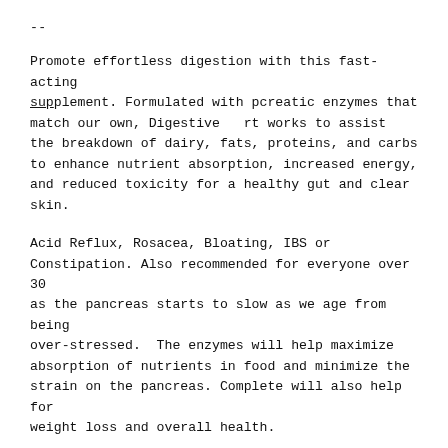--
Promote effortless digestion with this fast-acting supplement. Formulated with pancreatic enzymes that match our own, Digestive Support works to assist the breakdown of dairy, fats, proteins, and carbs to enhance nutrient absorption, increased energy, and reduced toxicity for a healthy gut and clear skin.
Acid Reflux, Rosacea, Bloating, IBS or Constipation. Also recommended for everyone over 30 as the pancreas starts to slow as we age from being over-stressed.  The enzymes will help maximize absorption of nutrients in food and minimize the strain on the pancreas. Complete will also help for weight loss and overall health.
Take 1 capsule 1-3 times daily with meals. Caution: Do not exceed recommended dose. Pregnant or nursing mothers, children under 18, and